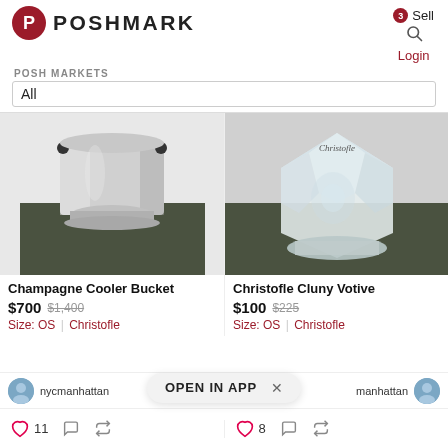POSHMARK | Sell | Login
POSH MARKETS
All
[Figure (photo): Silver champagne cooler bucket on dark olive green box against white background]
[Figure (photo): Christofle crystal votive glass on dark olive green surface with Christofle logo visible]
Champagne Cooler Bucket
$700  $1,400
Size: OS  |  Christofle
Christofle Cluny Votive
$100  $225
Size: OS  |  Christofle
nycmanhattan
manhattan
OPEN IN APP
11
8